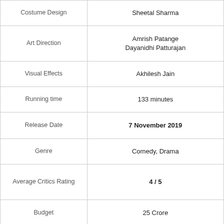| Costume Design | Sheetal Sharma |
| Art Direction | Amrish Patange
Dayanidhi Patturajan |
| Visual Effects | Akhilesh Jain |
| Running time | 133 minutes |
| Release Date | 7 November 2019 |
| Genre | Comedy, Drama |
| Average Critics Rating | 4 / 5 |
| Budget | 25 Crore |
| Collection | 116 . 38 Cr ( All India Nett Collection )
172 . 00 Cr ( Worldwide Gross Collection ) |